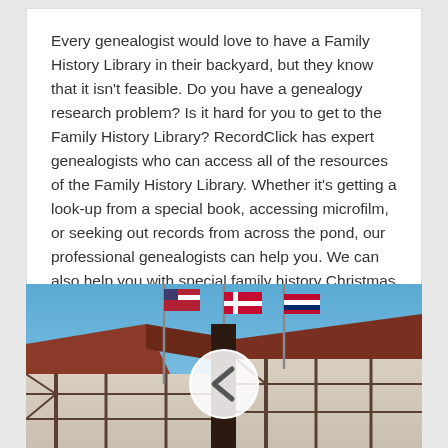Every genealogist would love to have a Family History Library in their backyard, but they know that it isn't feasible. Do you have a genealogy research problem? Is it hard for you to get to the Family History Library? RecordClick has expert genealogists who can access all of the resources of the Family History Library. Whether it's getting a look-up from a special book, accessing microfilm, or seeking out records from across the pond, our professional genealogists can help you. We can also help you with special family history Christmas gifts or organizing your records.
[Figure (photo): Photo of a Tudor-style building with a red/brown steeply pitched roof, flagpoles with flags including what appears to be a Danish flag, against a blue sky. A circular navigation button with a left chevron (<) is overlaid in the center of the image.]